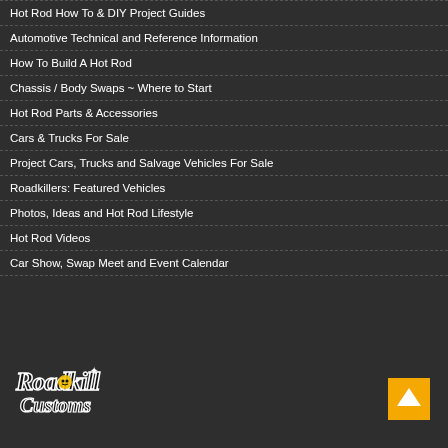Hot Rod How To & DIY Project Guides
Automotive Technical and Reference Information
How To Build A Hot Rod
Chassis / Body Swaps ~ Where to Start
Hot Rod Parts & Accessories
Cars & Trucks For Sale
Project Cars, Trucks and Salvage Vehicles For Sale
Roadkillers: Featured Vehicles
Photos, Ideas and Hot Rod Lifestyle
Hot Rod Videos
Car Show, Swap Meet and Event Calendar
[Figure (logo): Roadkill Customs logo in script font with decorative styling, black and white text]
[Figure (other): Orange back-to-top button with upward arrow]